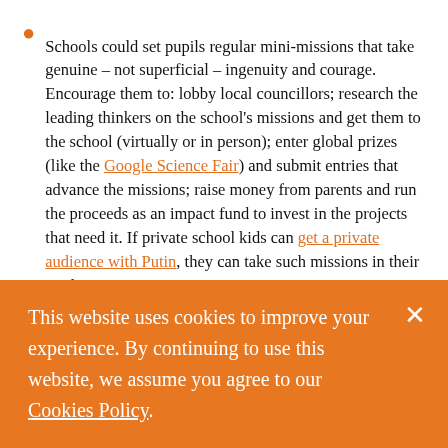Schools could set pupils regular mini-missions that take genuine – not superficial – ingenuity and courage. Encourage them to: lobby local councillors; research the leading thinkers on the school's missions and get them to the school (virtually or in person); enter global prizes (like the Google Science Fair) and submit entries that advance the missions; raise money from parents and run the proceeds as an impact fund to invest in the projects that need it. If private school kids can get a private audience with Putin, they can take such missions in their stride.
Schools could also be more bounded in the way they do
This website uses cookies to improve your experience. By continuing to use this website, we assume you agree to our Cookies Policy.